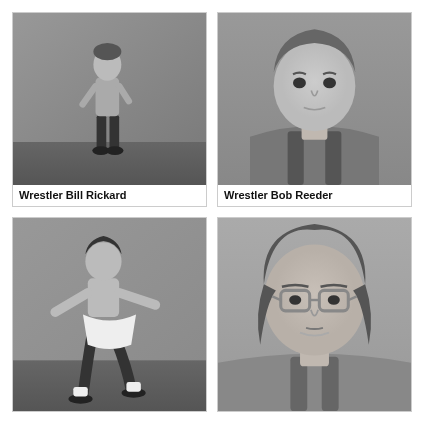[Figure (photo): Black and white photo of Wrestler Bill Rickard standing in a wrestling stance, shirtless with dark pants, in a gymnasium setting]
Wrestler Bill Rickard
[Figure (photo): Black and white portrait photo of Wrestler Bob Reeder wearing a wrestling singlet, close-up headshot]
Wrestler Bob Reeder
[Figure (photo): Black and white photo of a wrestler in action pose, shirtless with white shorts and dark leggings, in a gymnasium]
[Figure (photo): Black and white portrait photo of a wrestler wearing glasses and a wrestling singlet, with long hair]